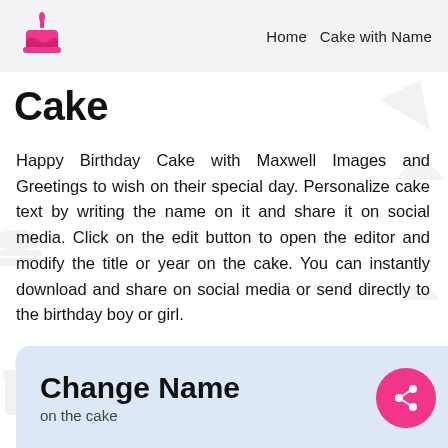Home  Cake with Name
Cake
Happy Birthday Cake with Maxwell Images and Greetings to wish on their special day. Personalize cake text by writing the name on it and share it on social media. Click on the edit button to open the editor and modify the title or year on the cake. You can instantly download and share on social media or send directly to the birthday boy or girl.
Change Name
on the cake